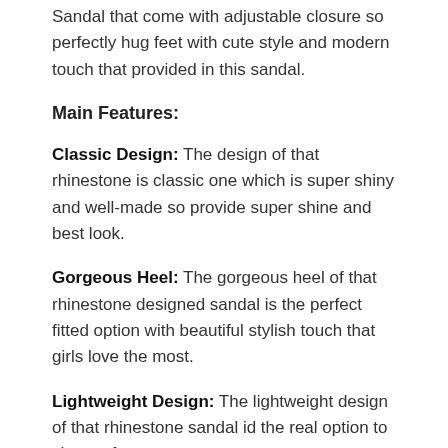Sandal that come with adjustable closure so perfectly hug feet with cute style and modern touch that provided in this sandal.
Main Features:
Classic Design: The design of that rhinestone is classic one which is super shiny and well-made so provide super shine and best look.
Gorgeous Heel: The gorgeous heel of that rhinestone designed sandal is the perfect fitted option with beautiful stylish touch that girls love the most.
Lightweight Design: The lightweight design of that rhinestone sandal id the real option to choose for